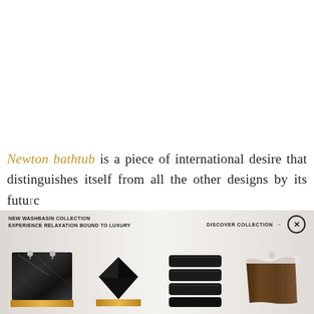Newton bathtub is a piece of international desire that distinguishes itself from all the other designs by its futuristic
[Figure (advertisement): Advertisement banner for a new washbasin collection featuring four luxury washbasin/bathtub products on a marble-textured background. Text reads 'NEW WASHBASIN COLLECTION EXPERIENCE RELAXATION BOUND TO LUXURY' on the left and 'DISCOVER COLLECTION →' on the right with an X close button.]